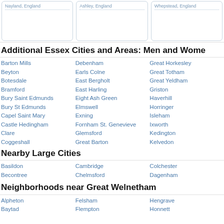Nayland, England
Ashley, England
Whepstead, England
Additional Essex Cities and Areas: Men and Women
Barton Mills
Beyton
Botesdale
Bramford
Bury Saint Edmunds
Bury St Edmunds
Capel Saint Mary
Castle Hedingham
Clare
Coggeshall
Debenham
Earls Colne
East Bergholt
East Harling
Eight Ash Green
Elmswell
Exning
Fornham St. Genevieve
Glemsford
Great Barton
Great Horkesley
Great Totham
Great Yeldham
Griston
Haverhill
Horringer
Isleham
Ixworth
Kedington
Kelvedon
Nearby Large Cities
Basildon
Becontree
Cambridge
Chelmsford
Colchester
Dagenham
Neighborhoods near Great Welnetham
Alpheton
Felsham
Hengrave
Baytad
Flempton
Honnett